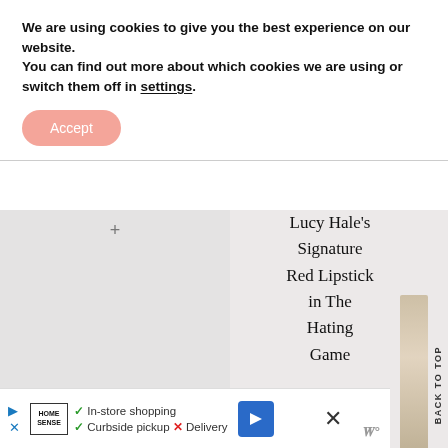We are using cookies to give you the best experience on our website.
You can find out more about which cookies we are using or switch them off in settings.
Accept
Lucy Hale's Signature Red Lipstick in The Hating Game
[Figure (photo): Thumbnail image of fabric or clothing in gray/white tones]
BACK TO TOP
In-store shopping  Curbside pickup  X Delivery